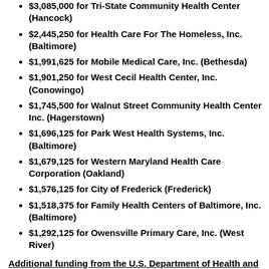$3,085,000 for Tri-State Community Health Center (Hancock)
$2,445,250 for Health Care For The Homeless, Inc. (Baltimore)
$1,991,625 for Mobile Medical Care, Inc. (Bethesda)
$1,901,250 for West Cecil Health Center, Inc. (Conowingo)
$1,745,500 for Walnut Street Community Health Center Inc. (Hagerstown)
$1,696,125 for Park West Health Systems, Inc. (Baltimore)
$1,679,125 for Western Maryland Health Care Corporation (Oakland)
$1,576,125 for City of Frederick (Frederick)
$1,518,375 for Family Health Centers of Baltimore, Inc. (Baltimore)
$1,292,125 for Owensville Primary Care, Inc. (West River)
Additional funding from the U.S. Department of Health and Human Services includes:
$3,334,137 for Maryland Department of Health...